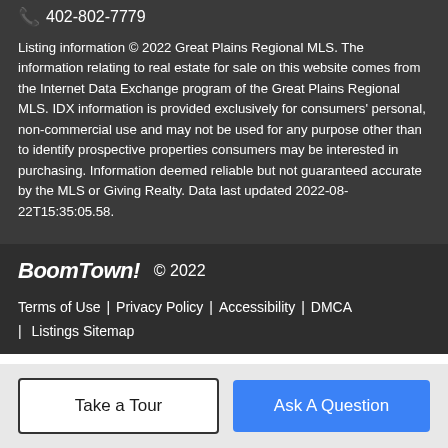402-802-7779
Listing information © 2022 Great Plains Regional MLS. The information relating to real estate for sale on this website comes from the Internet Data Exchange program of the Great Plains Regional MLS. IDX information is provided exclusively for consumers' personal, non-commercial use and may not be used for any purpose other than to identify prospective properties consumers may be interested in purchasing. Information deemed reliable but not guaranteed accurate by the MLS or Giving Realty. Data last updated 2022-08-22T15:35:05.58.
BoomTown! © 2022
Terms of Use | Privacy Policy | Accessibility | DMCA | Listings Sitemap
Take a Tour
Ask A Question